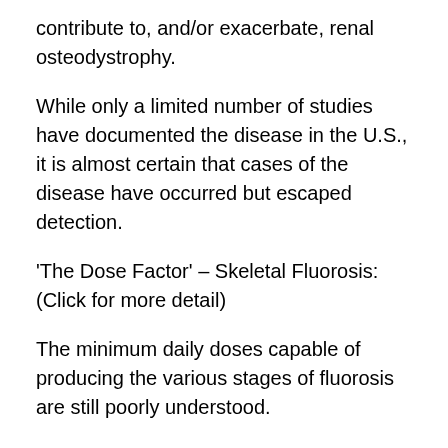contribute to, and/or exacerbate, renal osteodystrophy.
While only a limited number of studies have documented the disease in the U.S., it is almost certain that cases of the disease have occurred but escaped detection.
‘The Dose Factor’ – Skeletal Fluorosis: (Click for more detail)
The minimum daily doses capable of producing the various stages of fluorosis are still poorly understood.
In India and China, skeletal fluorosis has repeatedly been documented in field surveys among communities with 1.0 to 1.5 ppm fluoride in water. In the U.S., there has been extremely little systematic research to assess the prevalence of fluorosis. Case reports, however, have documented fluorosis among susceptible individuals